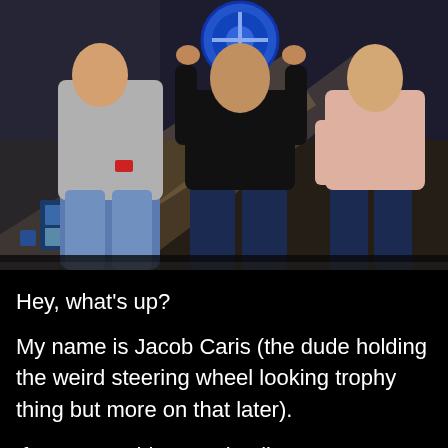[Figure (photo): Three people standing on a stage. Left person wears a light grey blazer and jeans. Center person wears a black shirt and dark jeans, holding a blue circular trophy/steering wheel object above their head. Right person wears a light pink top and dark jeans. Background has dark stage lighting with scattered white and blue elements.]
Hey, what's up?
My name is Jacob Caris (the dude holding the weird steering wheel looking trophy thing but more on that later).
If you're on this page it tells me you're interested in learning how you can leverage